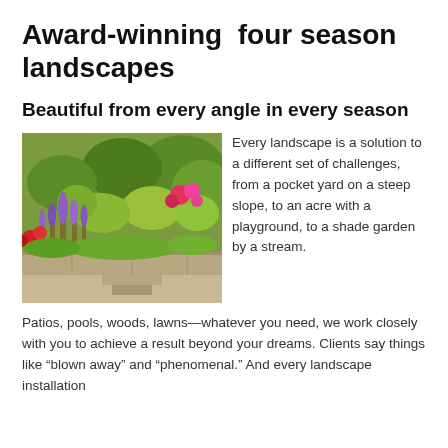Award-winning  four season landscapes
Beautiful from every angle in every season
[Figure (photo): Colorful garden landscape with purple lavender, red, and pink flowers among green shrubs and stone retaining walls with steps]
Every landscape is a solution to a different set of challenges, from a pocket yard on a steep slope, to an acre with a playground, to a shade garden by a stream.
Patios, pools, woods, lawns—whatever you need, we work closely with you to achieve a result beyond your dreams. Clients say things like “blown away” and “phenomenal.” And every landscape installation